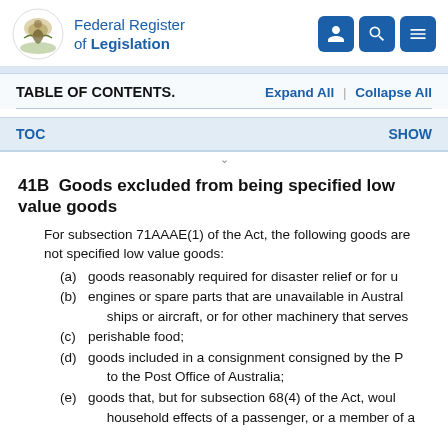Federal Register of Legislation
TABLE OF CONTENTS.
Expand All | Collapse All
TOC   SHOW
41B  Goods excluded from being specified low value goods
For subsection 71AAAE(1) of the Act, the following goods are not specified low value goods:
(a)  goods reasonably required for disaster relief or for u
(b)  engines or spare parts that are unavailable in Australia, ships or aircraft, or for other machinery that serves
(c)  perishable food;
(d)  goods included in a consignment consigned by the P to the Post Office of Australia;
(e)  goods that, but for subsection 68(4) of the Act, would household effects of a passenger, or a member of a